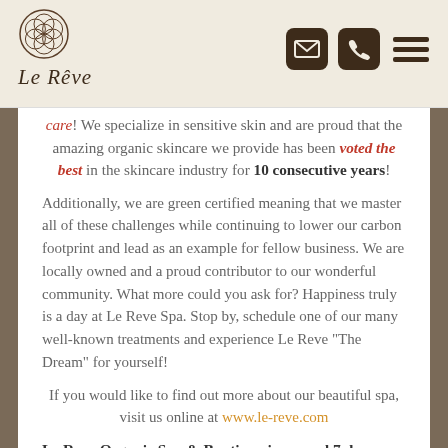Le Rêve — logo and navigation icons
care! We specialize in sensitive skin and are proud that the amazing organic skincare we provide has been voted the best in the skincare industry for 10 consecutive years!
Additionally, we are green certified meaning that we master all of these challenges while continuing to lower our carbon footprint and lead as an example for fellow business. We are locally owned and a proud contributor to our wonderful community. What more could you ask for? Happiness truly is a day at Le Reve Spa. Stop by, schedule one of our many well-known treatments and experience Le Reve "The Dream" for yourself!
If you would like to find out more about our beautiful spa, visit us online at www.le-reve.com
Le Reve Organic Spa & Boutique is opened 7 days